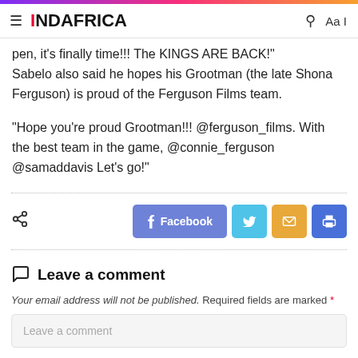INDAFRICA
pen, it's finally time!!! The KINGS ARE BACK!" Sabelo also said he hopes his Grootman (the late Shona Ferguson) is proud of the Ferguson Films team.
“Hope you’re proud Grootman!!! @ferguson_films. With the best team in the game, @connie_ferguson @samaddavis Let’s go!”
[Figure (infographic): Share buttons row: share icon on left, then Facebook (blue-purple), Twitter (light blue), Email (orange), Print (dark blue) buttons on right]
Leave a comment
Your email address will not be published. Required fields are marked *
Leave a comment